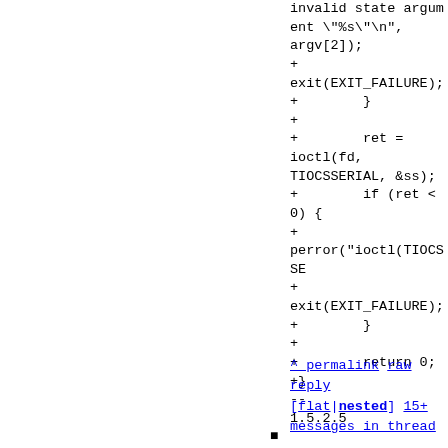invalid state argument \"%s\"\n", argv[2]);
+
exit(EXIT_FAILURE);
+        }
+
+        ret = ioctl(fd, TIOCSSERIAL, &ss);
+        if (ret < 0) {
+
perror("ioctl(TIOCSSE
+
exit(EXIT_FAILURE);
+        }
+
+        return 0;
+}
--
1.5.2.5
^ permalink raw reply [flat|nested] 15+ messages in thread